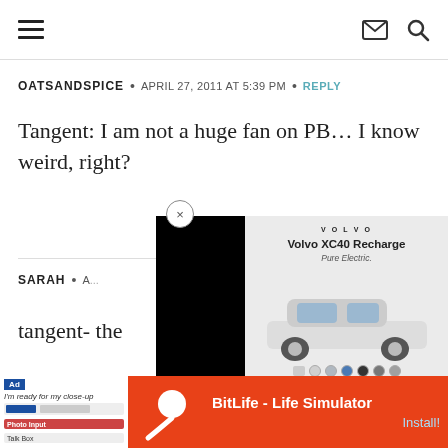Navigation bar with hamburger menu, email icon, and search icon
OATSANDSPICE • APRIL 27, 2011 AT 5:39 PM • REPLY
Tangent: I am not a huge fan on PB… I know weird, right?
SARAH • A[date cut off]
tangent- the[text cut off]
[Figure (photo): Volvo XC40 Recharge Pure Electric advertisement overlay with car image and color selector dots]
[Figure (photo): BitLife - Life Simulator mobile app advertisement at the bottom of the page]